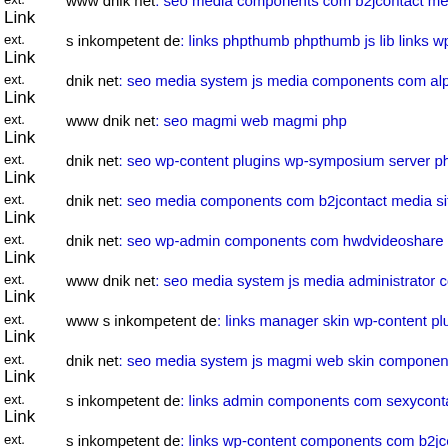ext. Link  www dnik net: seo media components com b2jcontact media m...
ext. Link  s inkompetent de: links phpthumb phpthumb js lib links wp-co...
ext. Link  dnik net: seo media system js media components com alphause...
ext. Link  www dnik net: seo magmi web magmi php
ext. Link  dnik net: seo wp-content plugins wp-symposium server php dn...
ext. Link  dnik net: seo media components com b2jcontact media sites de...
ext. Link  dnik net: seo wp-admin components com hwdvideoshare assets...
ext. Link  www dnik net: seo media system js media administrator compo...
ext. Link  www s inkompetent de: links manager skin wp-content plugins...
ext. Link  dnik net: seo media system js magmi web skin components co...
ext. Link  s inkompetent de: links admin components com sexycontactfor...
ext. Link  s inkompetent de: links wp-content components com b2jconta...